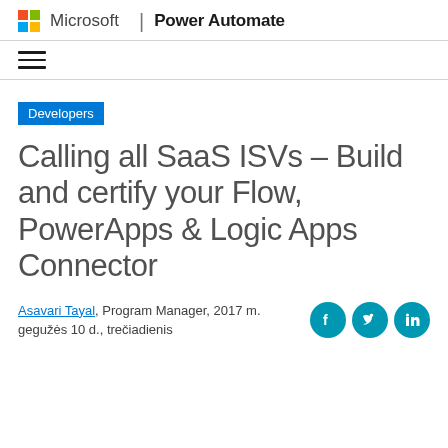Microsoft | Power Automate
[Figure (logo): Microsoft logo with four colored squares and hamburger menu icon]
Developers
Calling all SaaS ISVs – Build and certify your Flow, PowerApps & Logic Apps Connector
Asavari Tayal, Program Manager, 2017 m. gegužės 10 d., trečiadienis